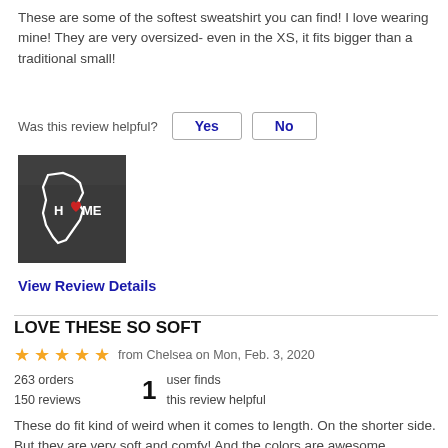These are some of the softest sweatshirt you can find! I love wearing mine! They are very oversized- even in the XS, it fits bigger than a traditional small!
Was this review helpful?  Yes  No
[Figure (photo): Photo of a dark sweatshirt with white California state outline graphic that reads H♥ME with a red heart]
View Review Details
LOVE THESE SO SOFT
★★★★★ from Chelsea on Mon, Feb. 3, 2020
263 orders
150 reviews
1
user finds
this review helpful
These do fit kind of weird when it comes to length. On the shorter side. But they are very soft and comfy! And the colors are awesome